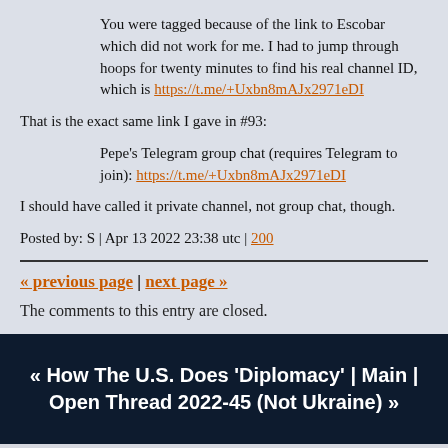You were tagged because of the link to Escobar which did not work for me. I had to jump through hoops for twenty minutes to find his real channel ID, which is https://t.me/+Uxbn8mAJx2971eDI
That is the exact same link I gave in #93:
Pepe's Telegram group chat (requires Telegram to join): https://t.me/+Uxbn8mAJx2971eDI
I should have called it private channel, not group chat, though.
Posted by: S | Apr 13 2022 23:38 utc | 200
« previous page | next page »
The comments to this entry are closed.
« How The U.S. Does 'Diplomacy' | Main | Open Thread 2022-45 (Not Ukraine) »